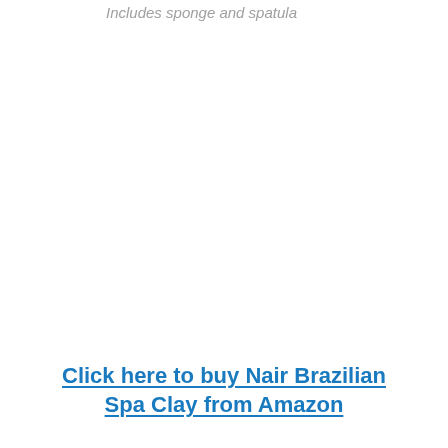Includes sponge and spatula
Click here to buy Nair Brazilian Spa Clay from Amazon